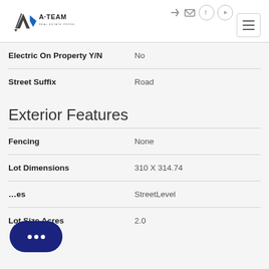A-TEAM Real Estate Professionals
| Field | Value |
| --- | --- |
| Electric On Property Y/N | No |
| Street Suffix | Road |
Exterior Features
| Field | Value |
| --- | --- |
| Fencing | None |
| Lot Dimensions | 310 X 314.74 |
| [Lot Fe]atures | StreetLevel |
| Lot Size Acres | 2.0 |